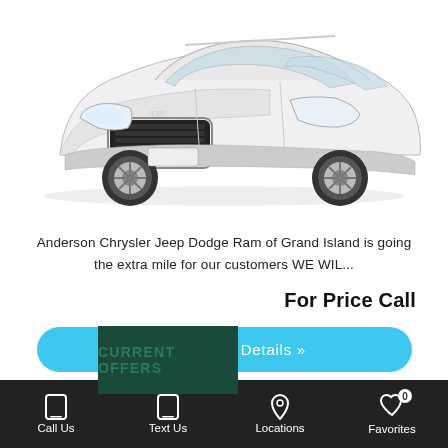[Figure (photo): White Jeep Cherokee SUV shown from a front three-quarter angle on a white background.]
Anderson Chrysler Jeep Dodge Ram of Grand Island is going the extra mile for our customers WE WIL...
For Price Call
View Vehicle Details »
Call Us   Text Us   Locations   Favorites 0